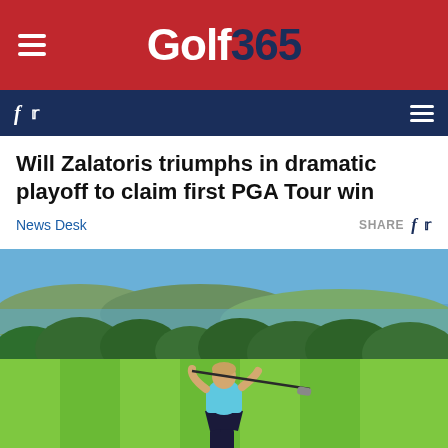Golf365
Will Zalatoris triumphs in dramatic playoff to claim first PGA Tour win
News Desk
[Figure (photo): A female golfer in a light blue top and navy skirt swinging a golf club on a lush green golf course, with trees, hills, and a body of water visible in the background under a clear blue sky.]